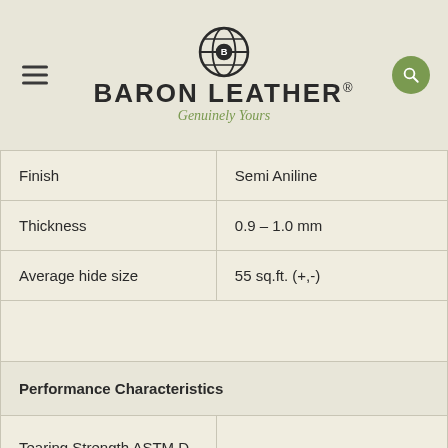[Figure (logo): Baron Leather logo with globe icon, brand name BARON LEATHER and tagline Genuinely Yours]
| Finish | Semi Aniline |
| Thickness | 0.9 – 1.0 mm |
| Average hide size | 55 sq.ft. (+,-) |
|  |  |
| Performance Characteristics |  |
| Tearing Strength ASTM D 4704 | Complies |